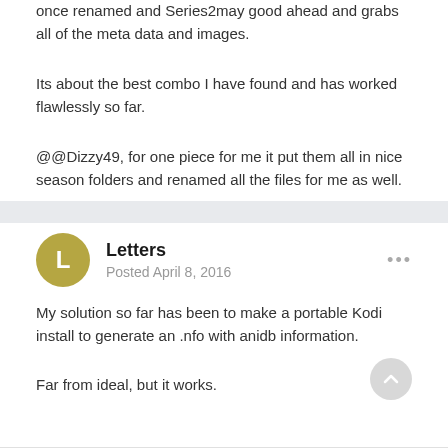once renamed and Series2may good ahead and grabs all of the meta data and images.
Its about the best combo I have found and has worked flawlessly so far.
@@Dizzy49, for one piece for me it put them all in nice season folders and renamed all the files for me as well.
Letters
Posted April 8, 2016
My solution so far has been to make a portable Kodi install to generate an .nfo with anidb information.
Far from ideal, but it works.